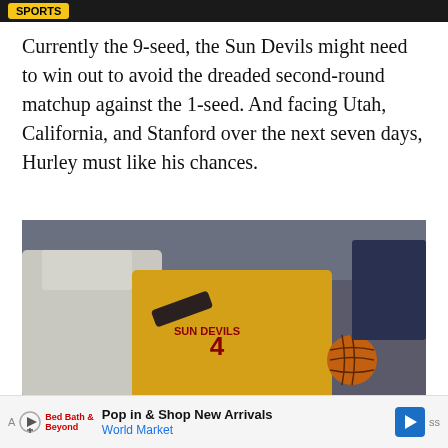Sports
Currently the 9-seed, the Sun Devils might need to win out to avoid the dreaded second-round matchup against the 1-seed. And facing Utah, California, and Stanford over the next seven days, Hurley must like his chances.
[Figure (photo): A Sun Devils basketball player wearing a gold jersey numbered 4 dribbles the ball while being defended by an opposing player in a white jersey during a college basketball game.]
Pop in & Shop New Arrivals World Market